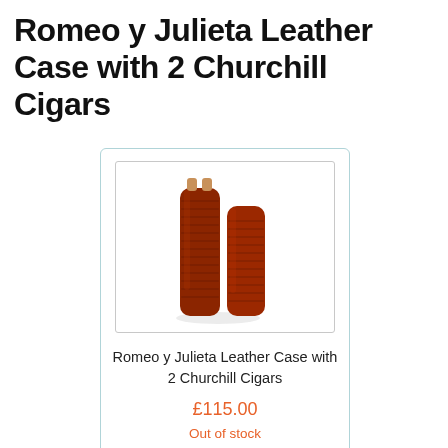Romeo y Julieta Leather Case with 2 Churchill Cigars
[Figure (photo): Two dark red leather cigar cases standing upright, one taller than the other, with cigar tips visible at the top of the taller case. A small shadow beneath them on a white background.]
Romeo y Julieta Leather Case with 2 Churchill Cigars
£115.00
Out of stock